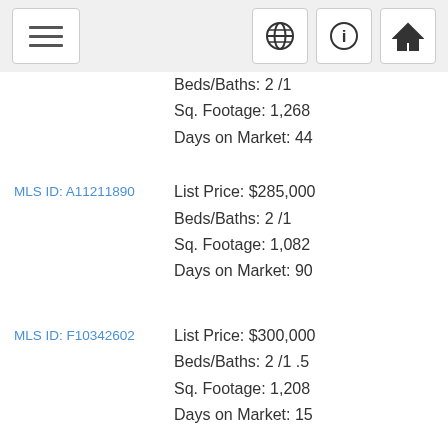Menu, Globe, Info, Home navigation bar
Beds/Baths: 2 /1
Sq. Footage: 1,268
Days on Market: 44
MLS ID: A11211890
List Price: $285,000
Beds/Baths: 2 /1
Sq. Footage: 1,082
Days on Market: 90
MLS ID: F10342602
List Price: $300,000
Beds/Baths: 2 /1 .5
Sq. Footage: 1,208
Days on Market: 15
MLS ID: A11218780
List Price: $300,000
Beds/Baths: 2 /2
Sq. Footage: 1,182
Days on Market: 76